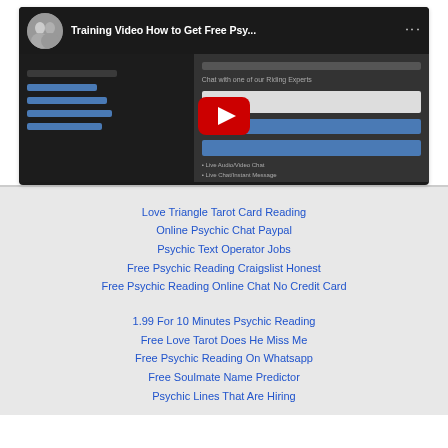[Figure (screenshot): YouTube video thumbnail showing 'Training Video How to Get Free Psy...' with a red play button in the center, a circular avatar with two people on the left of the title bar, and video content visible in the background.]
Love Triangle Tarot Card Reading
Online Psychic Chat Paypal
Psychic Text Operator Jobs
Free Psychic Reading Craigslist Honest
Free Psychic Reading Online Chat No Credit Card
1.99 For 10 Minutes Psychic Reading
Free Love Tarot Does He Miss Me
Free Psychic Reading On Whatsapp
Free Soulmate Name Predictor
Psychic Lines That Are Hiring